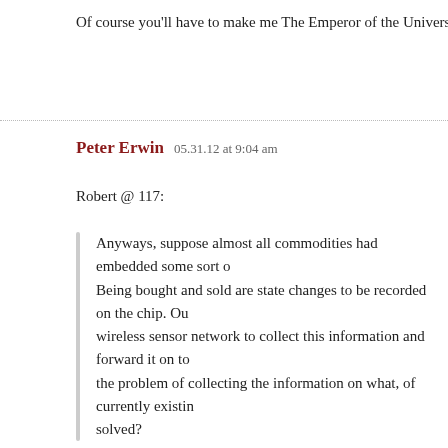Of course you'll have to make me The Emperor of the Universe first, so le
Peter Erwin   05.31.12 at 9:04 am
Robert @ 117:
Anyways, suppose almost all commodities had embedded some sort of chip. Being bought and sold are state changes to be recorded on the chip. Out wireless sensor network to collect this information and forward it on to the problem of collecting the information on what, of currently existing, solved?
RFID chips are plausible solution for consumer end products; less so for raw materials. (How would one associate RFID chips with oil, or water, or electricity?)
In any case, I don't see how that solves the problem of what is wanted (e.g. next five years), which is largely orthogonal to solving the problem of whe best, it solves some part of Cosma's (IIA), but by no means all of it (I don'